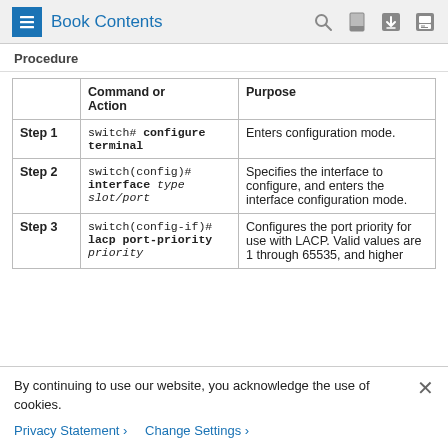Book Contents
Procedure
|  | Command or Action | Purpose |
| --- | --- | --- |
| Step 1 | switch# configure terminal | Enters configuration mode. |
| Step 2 | switch(config)# interface type slot/port | Specifies the interface to configure, and enters the interface configuration mode. |
| Step 3 | switch(config-if)# lacp port-priority priority | Configures the port priority for use with LACP. Valid values are 1 through 65535, and higher |
By continuing to use our website, you acknowledge the use of cookies.
Privacy Statement > Change Settings >